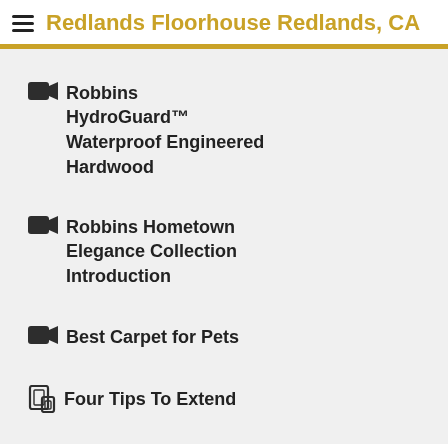Redlands Floorhouse Redlands, CA
Robbins HydroGuard™ Waterproof Engineered Hardwood
Robbins Hometown Elegance Collection Introduction
Best Carpet for Pets
Four Tips To Extend